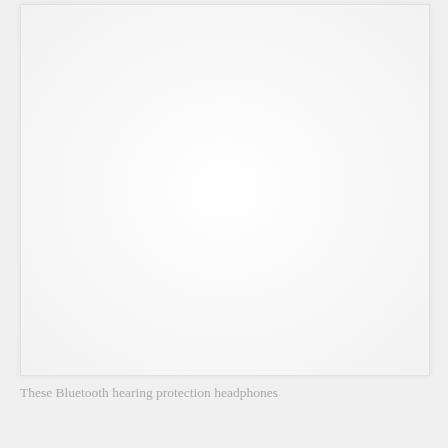[Figure (photo): A large white/blank image area, appearing to be a product photo placeholder or a nearly white image of hearing protection headphones. The image is mostly white with very faint gradient shading.]
These Bluetooth hearing protection headphones